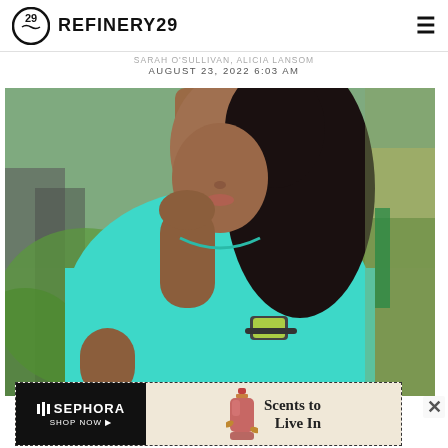REFINERY29
SARAH O'SULLIVAN, ALICIA LANSOM
AUGUST 23, 2022 6:03 AM
[Figure (photo): A Black woman in a teal/aqua fitted t-shirt running outdoors, wearing a smartwatch, with blurred urban/park background]
[Figure (other): Sephora advertisement banner: left side black with SEPHORA SHOP NOW text, right side tan/beige with perfume bottle image and text 'Scents to Live In']
WELLNESS